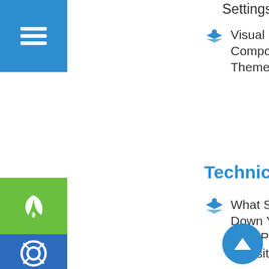[Figure (screenshot): Blue square with hamburger/menu icon (three horizontal white lines) in top-left]
Settings
Visual Composer – DT Theme Options
[Figure (screenshot): Green square with white leaf icon]
[Figure (screenshot): Blue square with white lifesaver/help circle icon]
Technical
What Slows Down Your WordPress Website?
[Figure (illustration): Blue circular scroll-to-top button with upward pointing chevron arrow]